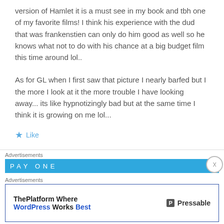version of Hamlet it is a must see in my book and tbh one of my favorite films! I think his experience with the dud that was frankenstien can only do him good as well so he knows what not to do with his chance at a big budget film this time around lol..
As for GL when I first saw that picture I nearly barfed but I the more I look at it the more trouble I have looking away... its like hypnotizingly bad but at the same time I think it is growing on me lol...
Like
Advertisements
[Figure (other): Blue advertisement banner bar with partial text visible]
Advertisements
[Figure (other): Pressable advertisement: ThePlatform Where WordPress Works Best, with Pressable logo]